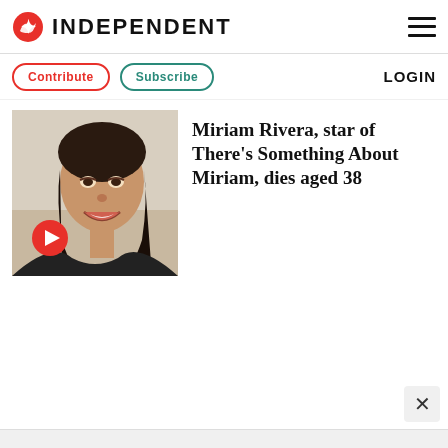INDEPENDENT
Contribute  Subscribe  LOGIN
[Figure (photo): Thumbnail photo of Miriam Rivera smiling, with a red play button overlay in the lower left corner.]
Miriam Rivera, star of There’s Something About Miriam, dies aged 38